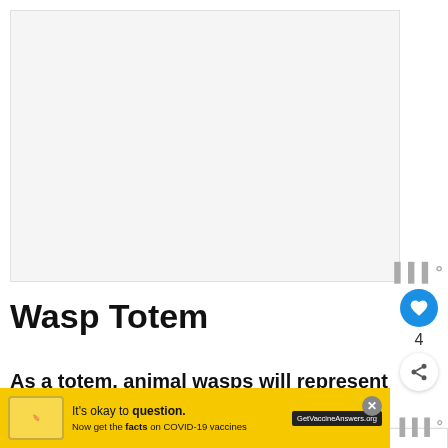[Figure (photo): Large placeholder image area at the top of the page, light gray background]
Wasp Totem
As a totem, animal wasps will represent independence, painful truths, love, drama, being a warrior and protector.
[Figure (other): WHAT'S NEXT panel with thumbnail image of ocean/lighthouse and text 'Rainbow symbolism:...']
[Figure (other): Yellow advertisement banner: It's okay to question. Now get the facts on COVID-19 vaccines. GetVaccineAnswers.org]